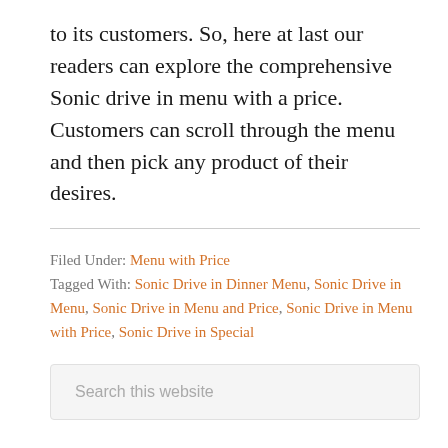to its customers. So, here at last our readers can explore the comprehensive Sonic drive in menu with a price. Customers can scroll through the menu and then pick any product of their desires.
Filed Under: Menu with Price
Tagged With: Sonic Drive in Dinner Menu, Sonic Drive in Menu, Sonic Drive in Menu and Price, Sonic Drive in Menu with Price, Sonic Drive in Special
Search this website